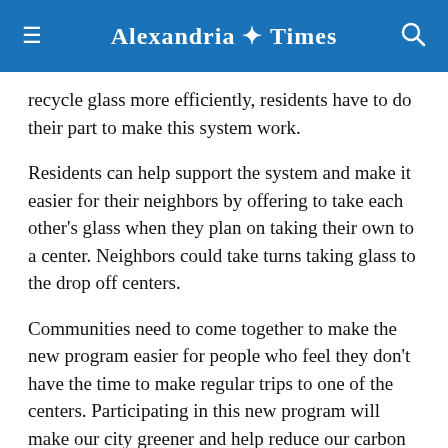Alexandria Times
recycle glass more efficiently, residents have to do their part to make this system work.
Residents can help support the system and make it easier for their neighbors by offering to take each other's glass when they plan on taking their own to a center. Neighbors could take turns taking glass to the drop off centers.
Communities need to come together to make the new program easier for people who feel they don't have the time to make regular trips to one of the centers. Participating in this new program will make our city greener and help reduce our carbon footprint.
The drop-off centers are open 24 hours a day, seven days a